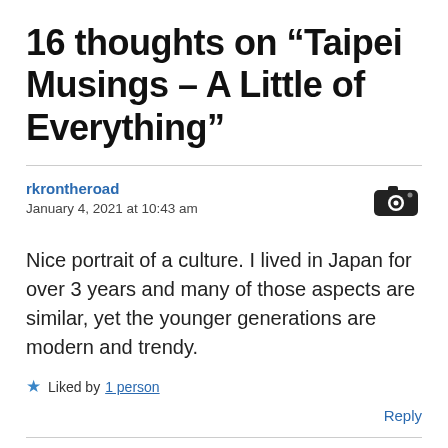16 thoughts on “Taipei Musings – A Little of Everything”
rkrontheroad
January 4, 2021 at 10:43 am
Nice portrait of a culture. I lived in Japan for over 3 years and many of those aspects are similar, yet the younger generations are modern and trendy.
★ Liked by 1 person
Reply